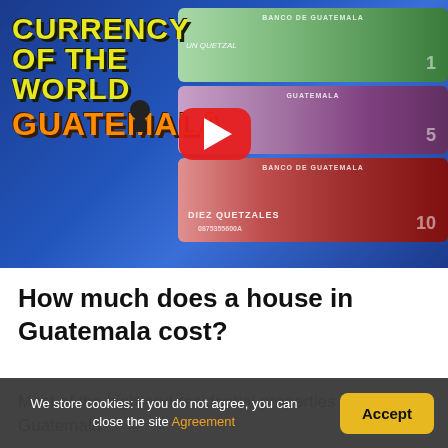[Figure (screenshot): YouTube video thumbnail showing Guatemalan banknotes (Un Quetzal, and Diez Quetzales) with text 'Currency of the World - Guatemala' overlay and a red YouTube play button]
How much does a house in Guatemala cost?
Most of the high-end residential properties in Guatemala
We store cookies: if you do not agree, you can close the site Agreement